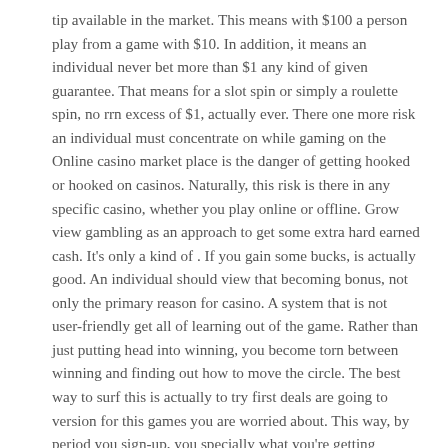tip available in the market. This means with $100 a person play from a game with $10. In addition, it means an individual never bet more than $1 any kind of given guarantee. That means for a slot spin or simply a roulette spin, no rrn excess of $1, actually ever. There one more risk an individual must concentrate on while gaming on the Online casino market place is the danger of getting hooked or hooked on casinos. Naturally, this risk is there in any specific casino, whether you play online or offline. Grow view gambling as an approach to get some extra hard earned cash. It's only a kind of . If you gain some bucks, is actually good. An individual should view that becoming bonus, not only the primary reason for casino. A system that is not user-friendly get all of learning out of the game. Rather than just putting head into winning, you become torn between winning and finding out how to move the circle. The best way to surf this is actually to try first deals are going to version for this games you are worried about. This way, by period you sign-up, you specially what you're getting interested in. Blackjack. The whole idea among the game